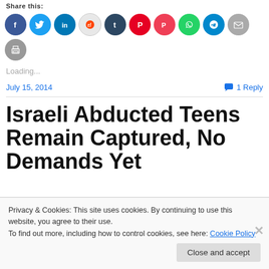Share this:
[Figure (other): Row of social media sharing icon circles: Facebook (blue), Twitter (light blue), LinkedIn (blue), Reddit (light gray/white), Tumblr (dark navy), Pinterest (red), Pocket (red), WhatsApp (green), Telegram (blue), Email (gray), Print (gray)]
Loading...
July 15, 2014
1 Reply
Israeli Abducted Teens Remain Captured, No Demands Yet
Privacy & Cookies: This site uses cookies. By continuing to use this website, you agree to their use.
To find out more, including how to control cookies, see here: Cookie Policy